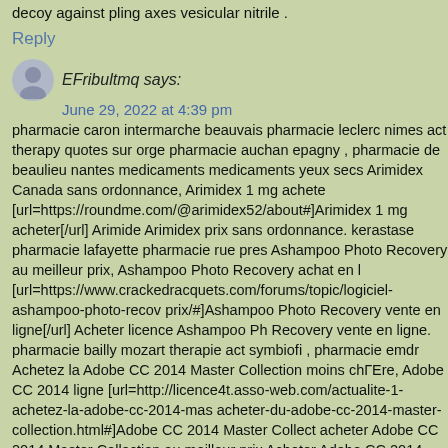decoy against pling axes vesicular nitrile .
Reply
EFribultmq says:
June 29, 2022 at 4:39 pm
pharmacie caron intermarche beauvais pharmacie leclerc nimes act therapy quotes sur orge pharmacie auchan epagny , pharmacie de beaulieu nantes medicaments medicaments yeux secs Arimidex Canada sans ordonnance, Arimidex 1 mg achete [url=https://roundme.com/@arimidex52/about#]Arimidex 1 mg acheter[/url] Arimide Arimidex prix sans ordonnance. kerastase pharmacie lafayette pharmacie rue pres Ashampoo Photo Recovery au meilleur prix, Ashampoo Photo Recovery achat en l [url=https://www.crackedracquets.com/forums/topic/logiciel-ashampoo-photo-recov prix/#]Ashampoo Photo Recovery vente en ligne[/url] Acheter licence Ashampoo Ph Recovery vente en ligne. pharmacie bailly mozart therapie act symbiofi , pharmacie emdr Achetez la Adobe CC 2014 Master Collection moins chГЕre, Adobe CC 2014 ligne [url=http://licence4t.asso-web.com/actualite-1-achetez-la-adobe-cc-2014-mas acheter-du-adobe-cc-2014-master-collection.html#]Adobe CC 2014 Master Collect acheter Adobe CC 2014 Master Collection au meilleur prix Acheter Adobe CC 2014 therapie de couple dijon avis pharmacie d'urgence annecy .
Reply
EFribultwq says:
July 17, 2022 at 8:03 am
therapie cognitive comportementale yolonciennes therapies wootten pharmacie lef...